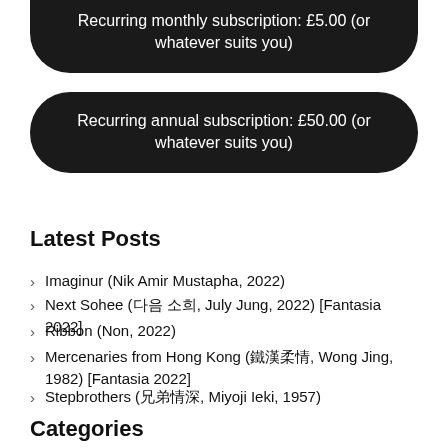Recurring monthly subscription: £5.00 (or whatever suits you)
Recurring annual subscription: £50.00 (or whatever suits you)
Latest Posts
Imaginur (Nik Amir Mustapha, 2022)
Next Sohee (다음 소희, July Jung, 2022) [Fantasia 2022]
Ribbon (Non, 2022)
Mercenaries from Hong Kong (鐵漢柔情, Wong Jing, 1982) [Fantasia 2022]
Stepbrothers (兄弟情深, Miyoji Ieki, 1957)
Categories
Bhutan
Books